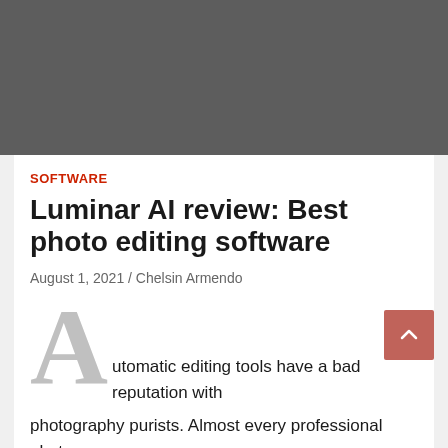[Figure (photo): Dark gray hero image placeholder at the top of the article]
SOFTWARE
Luminar AI review: Best photo editing software
August 1, 2021 / Chelsin Armendo
Automatic editing tools have a bad reputation with photography purists. Almost every professional photo